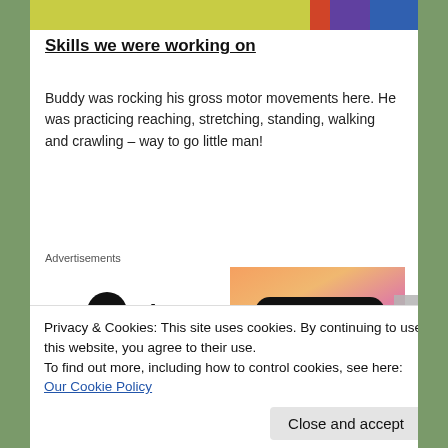[Figure (photo): Partial image at top of page showing colorful background (green and orange/red tones)]
Skills we were working on
Buddy was rocking his gross motor movements here. He was practicing reaching, stretching, standing, walking and crawling – way to go little man!
[Figure (other): WordPress VIP advertisement banner with 'Learn more' button on gradient background]
He was also working on problem solving by tipping the container and banging the bottom to
Privacy & Cookies: This site uses cookies. By continuing to use this website, you agree to their use.
To find out more, including how to control cookies, see here: Our Cookie Policy